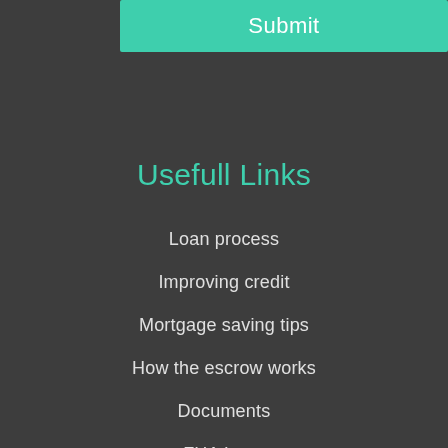[Figure (other): Green teal Submit button at the top of the page]
Usefull Links
Loan process
Improving credit
Mortgage saving tips
How the escrow works
Documents
FHA Loan
VA Loan
USDA Loan